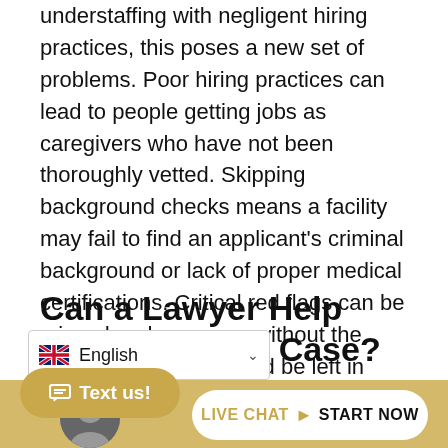understaffing with negligent hiring practices, this poses a new set of problems. Poor hiring practices can lead to people getting jobs as caregivers who have not been thoroughly vetted. Skipping background checks means a facility may fail to find an applicant's criminal background or lack of proper medical certifications. Critical red flags can be missed and someone without the proper credentials could be left in charge of your loved ones' care.
Can a Lawyer Help with an Abuse Case?
At our firm, we've seen the numbers. We